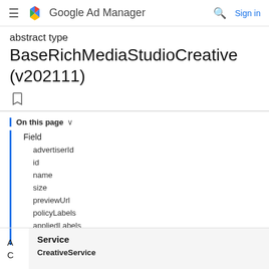≡ Google Ad Manager  🔍 Sign in
abstract type BaseRichMediaStudioCreative (v202111)
On this page ∨
Field
advertiserId
id
name
size
previewUrl
policyLabels
appliedLabels
•••
| Service |
| --- |
| CreativeService |